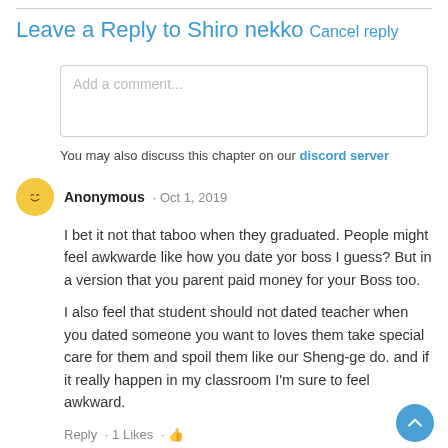Leave a Reply to Shiro nekko Cancel reply
Add a comment...
You may also discuss this chapter on our discord server
Anonymous · Oct 1, 2019
I bet it not that taboo when they graduated. People might feel awkwarde like how you date yor boss I guess? But in a version that you parent paid money for your Boss too.

I also feel that student should not dated teacher when you dated someone you want to loves them take special care for them and spoil them like our Sheng-ge do. and if it really happen in my classroom I'm sure to feel awkward.
Reply · 1 Likes · 👍
[Figure (other): Blue circular scroll-to-top button with upward chevron arrow]